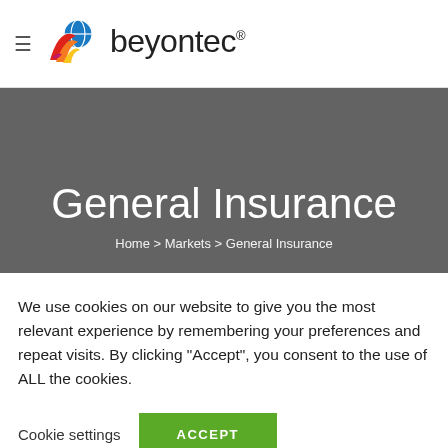beyontec® — navigation header with logo
General Insurance
Home > Markets > General Insurance
We use cookies on our website to give you the most relevant experience by remembering your preferences and repeat visits. By clicking "Accept", you consent to the use of ALL the cookies.
Cookie settings   ACCEPT